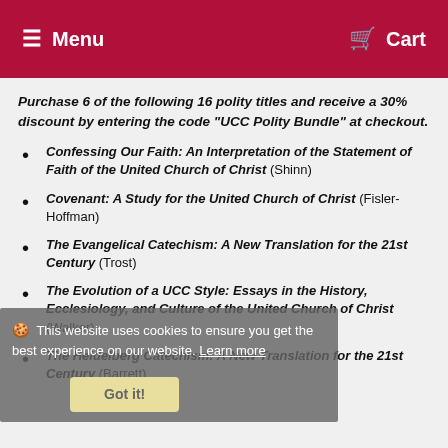Menu  Cart
Purchase 6 of the following 16 polity titles and receive a 30% discount by entering the code "UCC Polity Bundle" at checkout.
Confessing Our Faith: An Interpretation of the Statement of Faith of the United Church of Christ (Shinn)
Covenant: A Study for the United Church of Christ (Fisler-Hoffman)
The Evangelical Catechism: A New Translation for the 21st Century (Trost)
The Evolution of a UCC Style: Essays in the History, Ecclesiology, and Culture of the United Church of Christ (Walker)
The Heidelberg Catechism: A New Translation for the 21st Century (Barrett)
🍪 This website uses cookies to ensure you get the best experience on our website. Learn more  Got it!